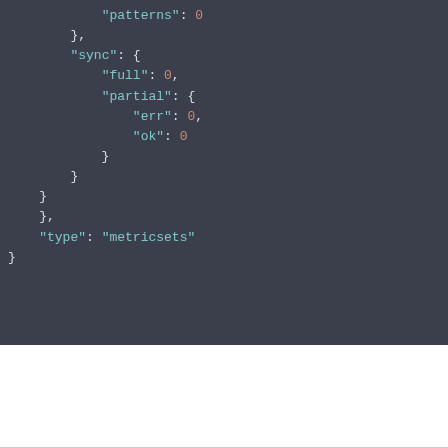[Figure (screenshot): Dark-themed code editor screenshot showing a JSON snippet with keys 'patterns', 'sync', 'full', 'partial', 'err', 'ok', 'type' with value 'metricsets'. Numeric values are shown in orange, string keys in teal, punctuation in white/light gray.]